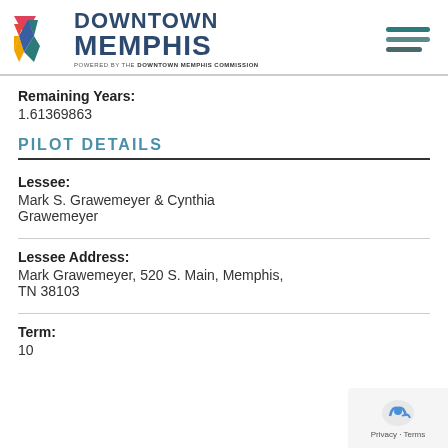Downtown Memphis — Powered by the Downtown Memphis Commission
Remaining Years:
1.61369863
PILOT DETAILS
Lessee:
Mark S. Grawemeyer & Cynthia Grawemeyer
Lessee Address:
Mark Grawemeyer, 520 S. Main, Memphis, TN 38103
Term:
10